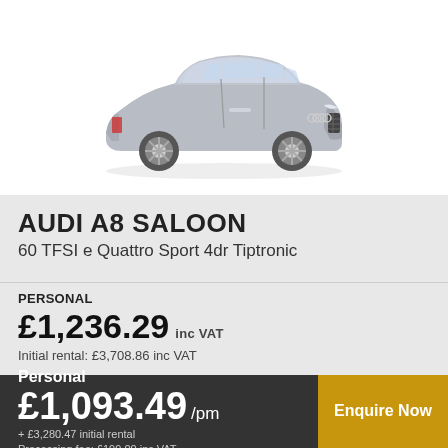[Figure (photo): Silver Audi A8 Saloon car, side-front view on white background]
AUDI A8 SALOON
60 TFSI e Quattro Sport 4dr Tiptronic
PERSONAL
£1,236.29 inc VAT
Initial rental: £3,708.86 inc VAT
Personal
£1,093.49 /pm
+ £3,280.47 initial rental
Processing fee: £199.00 inc VAT
Enquire Now